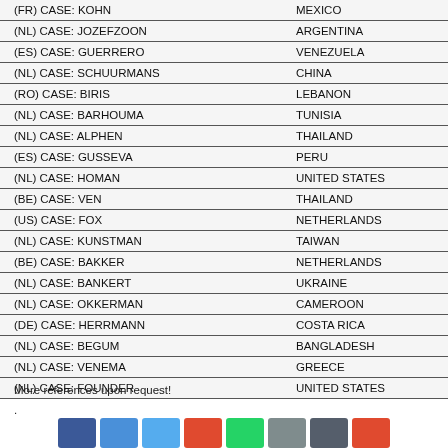| Case | Country |  |
| --- | --- | --- |
| (FR) CASE: KOHN | MEXICO | < |
| (NL) CASE: JOZEFZOON | ARGENTINA | < |
| (ES) CASE: GUERRERO | VENEZUELA | < |
| (NL) CASE: SCHUURMANS | CHINA | < |
| (RO) CASE: BIRIS | LEBANON | < |
| (NL) CASE: BARHOUMA | TUNISIA | < |
| (NL) CASE: ALPHEN | THAILAND | < |
| (ES) CASE: GUSSEVA | PERU | < |
| (NL) CASE: HOMAN | UNITED STATES | < |
| (BE) CASE: VEN | THAILAND | < |
| (US) CASE: FOX | NETHERLANDS | < |
| (NL) CASE: KUNSTMAN | TAIWAN | < |
| (BE) CASE: BAKKER | NETHERLANDS | < |
| (NL) CASE: BANKERT | UKRAINE | < |
| (NL) CASE: OKKERMAN | CAMEROON | < |
| (DE) CASE: HERRMANN | COSTA RICA | < |
| (NL) CASE: BEGUM | BANGLADESH | < |
| (NL) CASE: VENEMA | GREECE | < |
| (NL) CASE: FOUNDER | UNITED STATES | < |
More references upon request!
.
[Figure (other): Social media icon buttons: Facebook (dark blue), Facebook (light blue), Twitter (sky blue), Share (orange-red), WhatsApp (green), Email/share (grey), Share (dark grey), RSS/share (orange-red)]